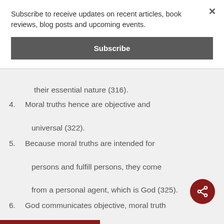Subscribe to receive updates on recent articles, book reviews, blog posts and upcoming events.
Subscribe
their essential nature (316).
4. Moral truths hence are objective and universal (322).
5. Because moral truths are intended for persons and fulfill persons, they come from a personal agent, which is God (325).
6. God communicates objective, moral truth through the Bible (328-342).
7.